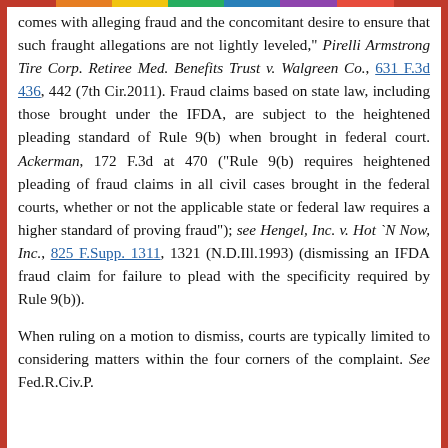comes with alleging fraud and the concomitant desire to ensure that such fraught allegations are not lightly leveled," Pirelli Armstrong Tire Corp. Retiree Med. Benefits Trust v. Walgreen Co., 631 F.3d 436, 442 (7th Cir.2011). Fraud claims based on state law, including those brought under the IFDA, are subject to the heightened pleading standard of Rule 9(b) when brought in federal court. Ackerman, 172 F.3d at 470 ("Rule 9(b) requires heightened pleading of fraud claims in all civil cases brought in the federal courts, whether or not the applicable state or federal law requires a higher standard of proving fraud"); see Hengel, Inc. v. Hot `N Now, Inc., 825 F.Supp. 1311, 1321 (N.D.Ill.1993) (dismissing an IFDA fraud claim for failure to plead with the specificity required by Rule 9(b)).
When ruling on a motion to dismiss, courts are typically limited to considering matters within the four corners of the complaint. See Fed.R.Civ.P.